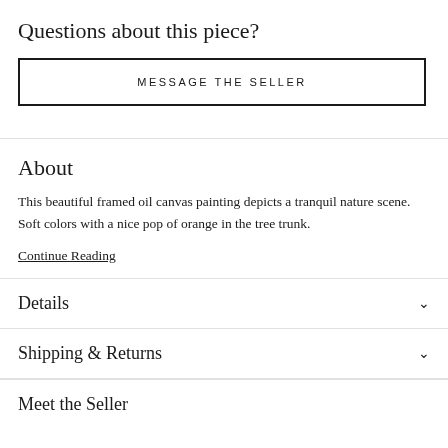Questions about this piece?
MESSAGE THE SELLER
About
This beautiful framed oil canvas painting depicts a tranquil nature scene. Soft colors with a nice pop of orange in the tree trunk.
Continue Reading
Details
Shipping & Returns
Meet the Seller